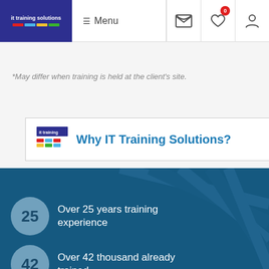it training solutions | Menu
*May differ when training is held at the client's site.
Why IT Training Solutions?
Over 25 years training experience
Over 42 thousand already trained